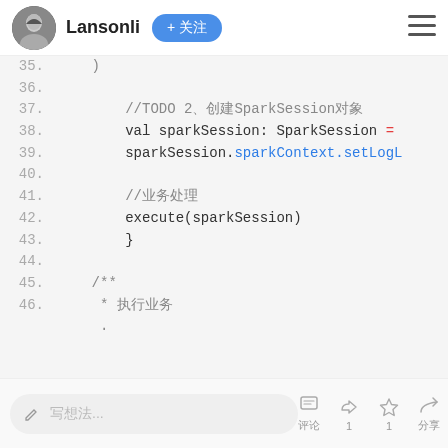Lansonli + 关注
[Figure (screenshot): Code editor screenshot showing Scala/Spark code lines 35-46. Line 35: ), Line 36: blank, Line 37: //TODO 2、创建SparkSession对象, Line 38: val sparkSession: SparkSession =, Line 39: sparkSession.sparkContext.setLogL, Line 40: blank, Line 41: //业务处理, Line 42: execute(sparkSession), Line 43: }, Line 44: blank, Line 45: /**, Line 46: * 执行业务]
✏ 写想法...   评论   1   1   分享